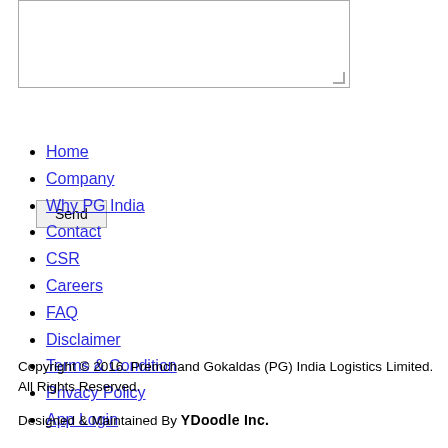[Figure (other): Text area input box (form element)]
Send
Home
Company
Why PG India
Contact
CSR
Careers
FAQ
Disclaimer
Terms & Condition
Privacy Policy
App Login
Copyright © 2016. Premchand Gokaldas (PG) India Logistics Limited. All Rights Reserved.
Designed & Maintained By YDoodle Inc.